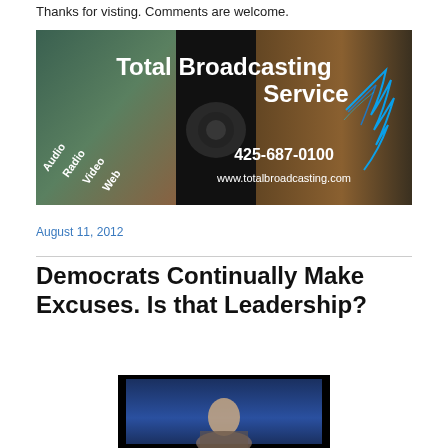Thanks for visting. Comments are welcome.
[Figure (logo): Total Broadcasting Service banner ad with text 'Total Broadcasting Service', services listed as Audio, Radio, Video, Web, phone number 425-687-0100, website www.totalbroadcasting.com, dark background with media imagery and blue feather/pen graphic]
August 11, 2012
Democrats Continually Make Excuses. Is that Leadership?
[Figure (photo): Photo of a person shown from shoulders up against a dark background with a framed portrait style]